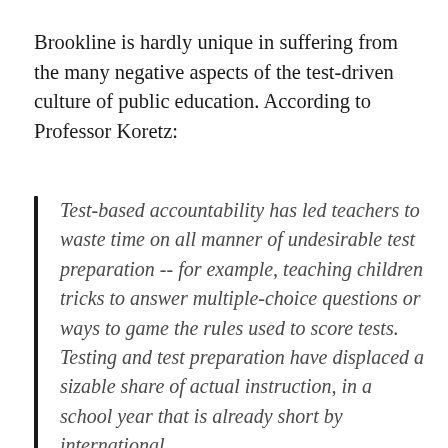Brookline is hardly unique in suffering from the many negative aspects of the test-driven culture of public education. According to Professor Koretz:
Test-based accountability has led teachers to waste time on all manner of undesirable test preparation -- for example, teaching children tricks to answer multiple-choice questions or ways to game the rules used to score tests. Testing and test preparation have displaced a sizable share of actual instruction, in a school year that is already short by international